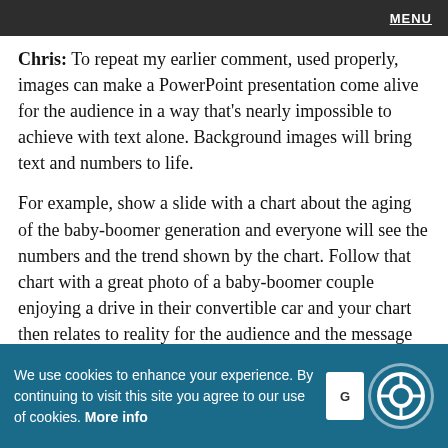MENU
Chris: To repeat my earlier comment, used properly, images can make a PowerPoint presentation come alive for the audience in a way that's nearly impossible to achieve with text alone. Background images will bring text and numbers to life.
For example, show a slide with a chart about the aging of the baby-boomer generation and everyone will see the numbers and the trend shown by the chart. Follow that chart with a great photo of a baby-boomer couple enjoying a drive in their convertible car and your chart then relates to reality for the audience and the message behind the chart is that much stronger. You can apply this concept to just about any point one might want to make in a live presentation. The significance of visuals
We use cookies to enhance your experience. By continuing to visit this site you agree to our use of cookies. More info